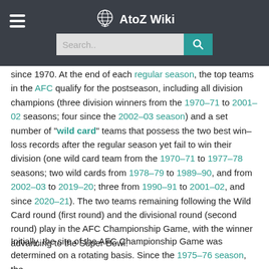AtoZ Wiki
since 1970. At the end of each regular season, the top teams in the AFC qualify for the postseason, including all division champions (three division winners from the 1970–71 to 2001–02 seasons; four since the 2002–03 season) and a set number of "wild card" teams that possess the two best win–loss records after the regular season yet fail to win their division (one wild card team from the 1970–71 to 1977–78 seasons; two wild cards from 1978–79 to 1989–90, and from 2002–03 to 2019–20; three from 1990–91 to 2001–02, and since 2020–21). The two teams remaining following the Wild Card round (first round) and the divisional round (second round) play in the AFC Championship Game, with the winner advancing to the Super Bowl.
Initially, the site of the AFC Championship Game was determined on a rotating basis. Since the 1975–76 season, the